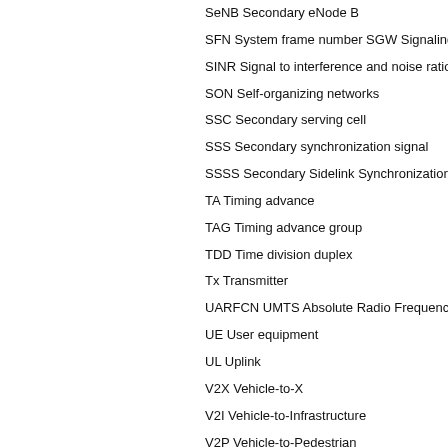SeNB Secondary eNode B
SFN System frame number SGW Signaling ga
SINR Signal to interference and noise ratio
SON Self-organizing networks
SSC Secondary serving cell
SSS Secondary synchronization signal
SSSS Secondary Sidelink Synchronization Sig
TA Timing advance
TAG Timing advance group
TDD Time division duplex
Tx Transmitter
UARFCN UMTS Absolute Radio Frequency Ch
UE User equipment
UL Uplink
V2X Vehicle-to-X
V2I Vehicle-to-Infrastructure
V2P Vehicle-to-Pedestrian